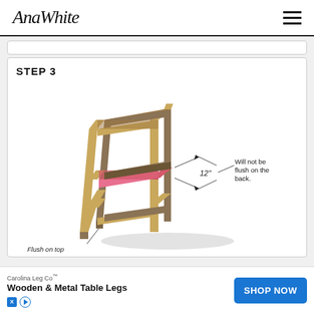AnaWhite
STEP 3
[Figure (engineering-diagram): 3D isometric engineering diagram of a wooden chair/stool frame under construction. Shows wooden legs and rails assembled, with a pink/highlighted front rail labeled '12"' with an arrow pointing to it and a callout reading 'Will not be flush on the back.' Another label at the bottom reads 'Flush on top'.]
Flush on top
Carolina Leg Co™
Wooden & Metal Table Legs